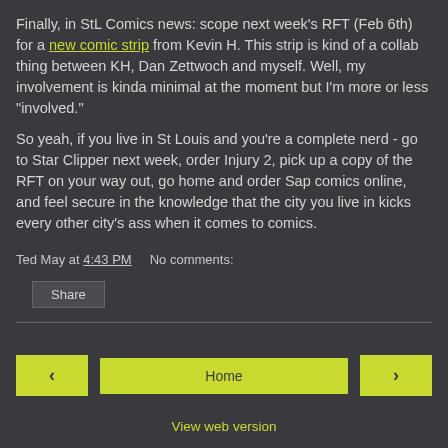Finally, in StL Comics news: scope next week's RFT (Feb 6th) for a new comic strip from Kevin H. This strip is kind of a collab thing between KH, Dan Zettwoch and myself. Well, my involvement is kinda minimal at the moment but I'm more or less "involved."
So yeah, if you live in St Louis and you're a complete nerd - go to Star Clipper next week, order Injury 2, pick up a copy of the RFT on your way out, go home and order Sap comics online, and feel secure in the knowledge that the city you live in kicks every other city's ass when it comes to comics.
Ted May at 4:43 PM    No comments:
Share
Home | View web version